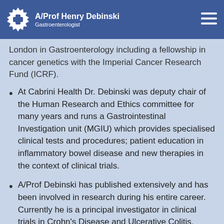A/Prof Henry Debinski — Gastroenterologist
London in Gastroenterology including a fellowship in cancer genetics with the Imperial Cancer Research Fund (ICRF).
At Cabrini Health Dr. Debinski was deputy chair of the Human Research and Ethics committee for many years and runs a Gastrointestinal Investigation unit (MGIU) which provides specialised clinical tests and procedures; patient education in inflammatory bowel disease and new therapies in the context of clinical trials.
A/Prof Debinski has published extensively and has been involved in research during his entire career. Currently he is a principal investigator in clinical trials in Crohn's Disease and Ulcerative Colitis.